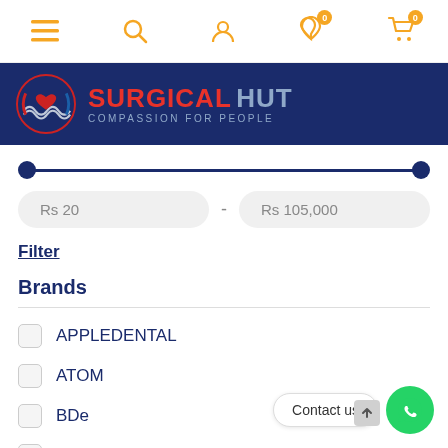Navigation bar with menu, search, account, wishlist (0), cart (0) icons
[Figure (logo): Surgical Hut logo - red and blue circular emblem with SURGICAL HUT text and COMPASSION FOR PEOPLE tagline on dark blue banner]
Rs 20 - Rs 105,000
Filter
Brands
APPLEDENTAL
ATOM
BDe
BestPharm
Contact us